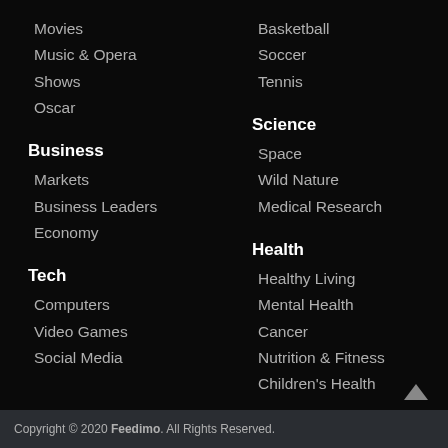Movies
Music & Opera
Shows
Oscar
Basketball
Soccer
Tennis
Business
Markets
Business Leaders
Economy
Science
Space
Wild Nature
Medical Research
Tech
Computers
Video Games
Social Media
Health
Healthy Living
Mental Health
Cancer
Nutrition & Fitness
Children's Health
Copyright © 2020 Feedimo. All Rights Reserved.